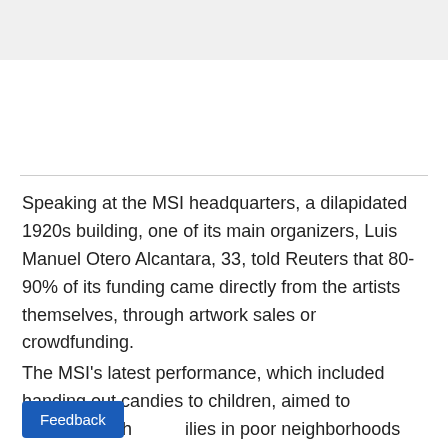Speaking at the MSI headquarters, a dilapidated 1920s building, one of its main organizers, Luis Manuel Otero Alcantara, 33, told Reuters that 80-90% of its funding came directly from the artists themselves, through artwork sales or crowdfunding.
The MSI's latest performance, which included handing out candies to children, aimed to underscore the families in poor neighborhoods like theirs